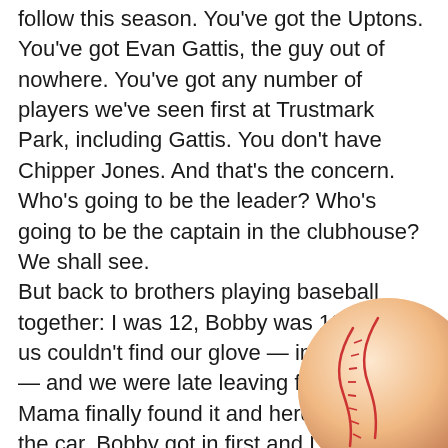The Braves will be a most interesting story to follow this season. You've got the Uptons. You've got Evan Gattis, the guy out of nowhere. You've got any number of players we've seen first at Trustmark Park, including Gattis. You don't have Chipper Jones. And that's the concern. Who's going to be the leader? Who's going to be the captain in the clubhouse? We shall see.
But back to brothers playing baseball together: I was 12, Bobby was 10. One of us couldn't find our glove — imagine that — and we were late leaving for the game. Mama finally found it and herded us out to the car. Bobby got in first and I slammed the door behind him, except for his thumb which paid the consequences.
This was in Hattiesburg. You could have heard him in Laurel.
His thumb quickly grew about two sizes. Mom ran back into the house and got some tape and
[Figure (photo): Partial view of a baseball in the bottom-right corner of the page, showing the round ball with red stitching on a light pinkish-orange background.]